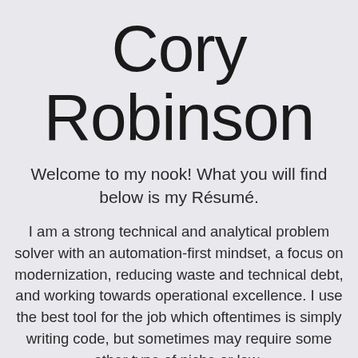Cory Robinson
Welcome to my nook! What you will find below is my Résumé.
I am a strong technical and analytical problem solver with an automation-first mindset, a focus on modernization, reducing waste and technical debt, and working towards operational excellence. I use the best tool for the job which oftentimes is simply writing code, but sometimes may require some other type of niche or low-